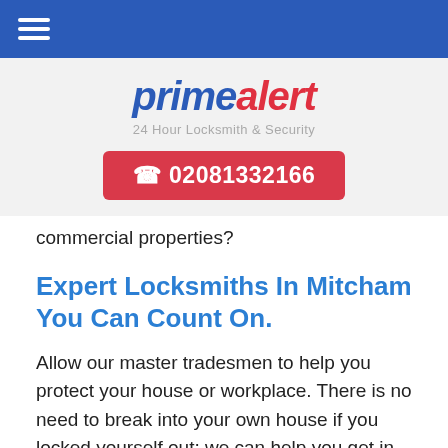≡ (navigation menu icon)
[Figure (logo): primealert logo — 'prime' in blue italic bold, 'alert' in red italic bold with padlock icon replacing letter 'a', subtitle '24 Hour Locksmith & Security' in grey]
02081332166
commercial properties?
Expert Locksmiths In Mitcham You Can Count On.
Allow our master tradesmen to help you protect your house or workplace. There is no need to break into your own house if you locked yourself out; we can help you get in without any damage to your doors or windows. Our fully insured experts can assist you, whether you want an alarm and home safety mechanism, to install new locks on your